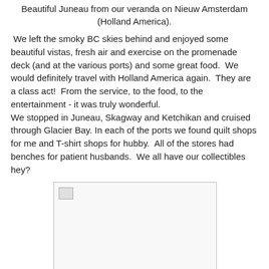Beautiful Juneau from our veranda on Nieuw Amsterdam (Holland America).
We left the smoky BC skies behind and enjoyed some beautiful vistas, fresh air and exercise on the promenade deck (and at the various ports) and some great food.  We would definitely travel with Holland America again.  They are a class act!  From the service, to the food, to the entertainment - it was truly wonderful.
We stopped in Juneau, Skagway and Ketchikan and cruised through Glacier Bay. In each of the ports we found quilt shops for me and T-shirt shops for hubby.  All of the stores had benches for patient husbands.  We all have our collectibles hey?
[Figure (photo): Photo placeholder showing an image related to the cruise, likely Juneau or another port]